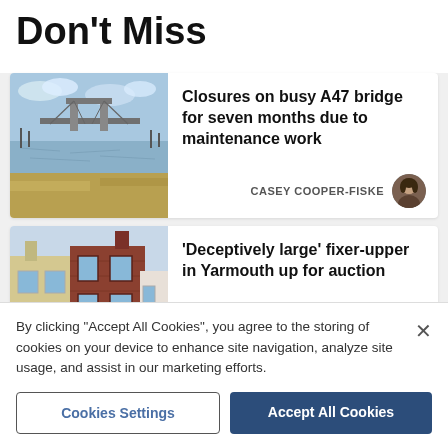Don't Miss
[Figure (photo): Photo of A47 Breydon Bridge over water with marsh in foreground, cloudy sky]
Closures on busy A47 bridge for seven months due to maintenance work
CASEY COOPER-FISKE
[Figure (photo): Photo of terraced houses in Yarmouth, brick buildings on a street]
'Deceptively large' fixer-upper in Yarmouth up for auction
By clicking "Accept All Cookies", you agree to the storing of cookies on your device to enhance site navigation, analyze site usage, and assist in our marketing efforts.
Cookies Settings
Accept All Cookies